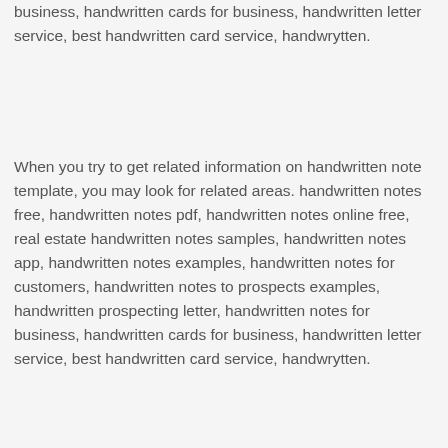business, handwritten cards for business, handwritten letter service, best handwritten card service, handwrytten.
When you try to get related information on handwritten note template, you may look for related areas. handwritten notes free, handwritten notes pdf, handwritten notes online free, real estate handwritten notes samples, handwritten notes app, handwritten notes examples, handwritten notes for customers, handwritten notes to prospects examples, handwritten prospecting letter, handwritten notes for business, handwritten cards for business, handwritten letter service, best handwritten card service, handwrytten.